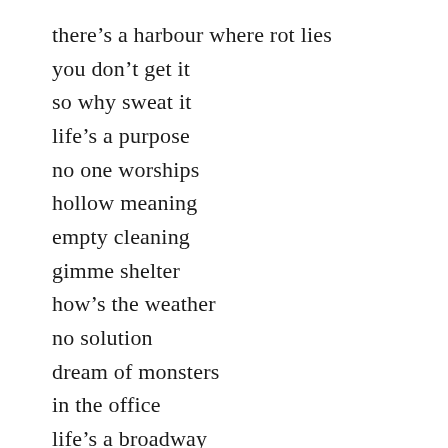there’s a harbour where rot lies
you don’t get it
so why sweat it
life’s a purpose
no one worships
hollow meaning
empty cleaning
gimme shelter
how’s the weather
no solution
dream of monsters
in the office
life’s a broadway
show for sale
on the boardwalk
so much small talk